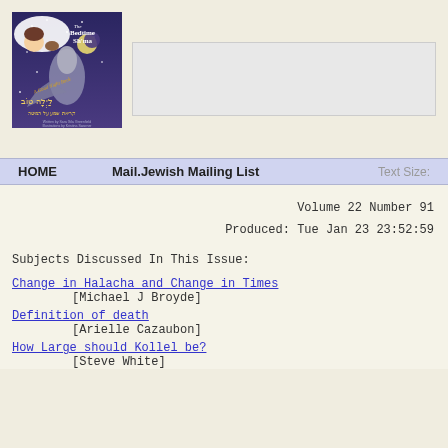[Figure (photo): Book cover: The Bedtime Sh'ma - A Good Night Book, with Hebrew text, child sleeping with bird illustration on blue/purple background]
HOME    Mail.Jewish Mailing List    Text Size:
Volume 22 Number 91
Produced: Tue Jan 23 23:52:59
Subjects Discussed In This Issue:
Change in Halacha and Change in Times
        [Michael J Broyde]
Definition of death
        [Arielle Cazaubon]
How Large should Kollel be?
        [Steve White]